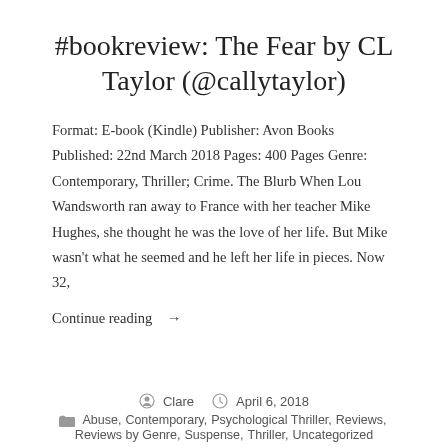#bookreview: The Fear by CL Taylor (@callytaylor)
Format: E-book (Kindle) Publisher: Avon Books Published: 22nd March 2018 Pages: 400 Pages Genre: Contemporary, Thriller; Crime. The Blurb When Lou Wandsworth ran away to France with her teacher Mike Hughes, she thought he was the love of her life. But Mike wasn't what he seemed and he left her life in pieces. Now 32,
Continue reading →
Clare · April 6, 2018 · Abuse, Contemporary, Psychological Thriller, Reviews, Reviews by Genre, Suspense, Thriller, Uncategorized